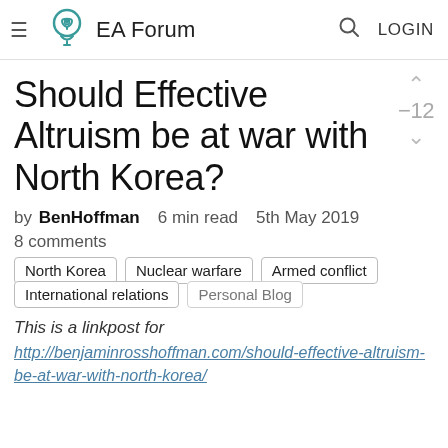EA Forum
Should Effective Altruism be at war with North Korea?
by BenHoffman   6 min read   5th May 2019
8 comments
North Korea
Nuclear warfare
Armed conflict
International relations
Personal Blog
This is a linkpost for
http://benjaminrosshoffman.com/should-effective-altruism-be-at-war-with-north-korea/